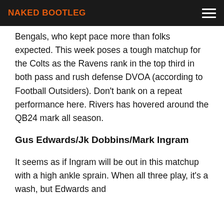NAKED BOOTLEG
Bengals, who kept pace more than folks expected. This week poses a tough matchup for the Colts as the Ravens rank in the top third in both pass and rush defense DVOA (according to Football Outsiders). Don't bank on a repeat performance here. Rivers has hovered around the QB24 mark all season.
Gus Edwards/Jk Dobbins/Mark Ingram
It seems as if Ingram will be out in this matchup with a high ankle sprain. When all three play, it's a wash, but Edwards and